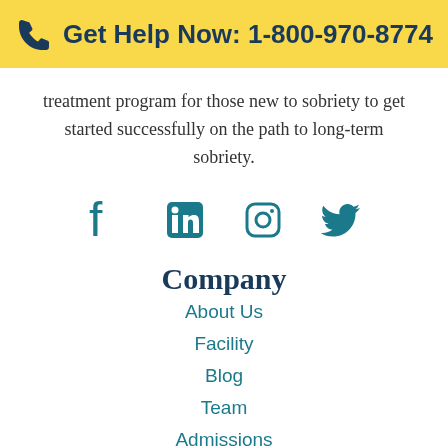Get Help Now: 1-800-970-8774
treatment program for those new to sobriety to get started successfully on the path to long-term sobriety.
[Figure (infographic): Social media icons: Facebook, LinkedIn, Instagram, Twitter]
Company
About Us
Facility
Blog
Team
Admissions
Contact